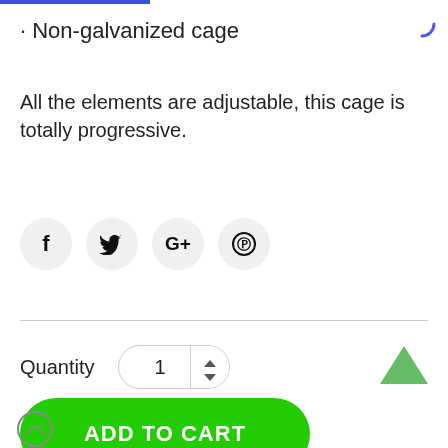· Non-galvanized cage
All the elements are adjustable, this cage is totally progressive.
[Figure (other): Social sharing icons row: Facebook (f), Twitter (bird), Google+ (G+), Pinterest (p circle)]
Quantity  1
[Figure (other): Green ADD TO CART button with rounded corners]